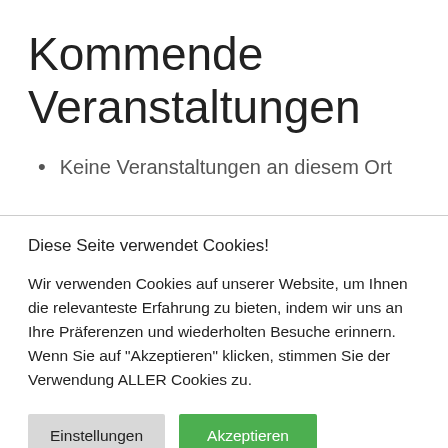Kommende Veranstaltungen
Keine Veranstaltungen an diesem Ort
Diese Seite verwendet Cookies!
Wir verwenden Cookies auf unserer Website, um Ihnen die relevanteste Erfahrung zu bieten, indem wir uns an Ihre Präferenzen und wiederholten Besuche erinnern. Wenn Sie auf "Akzeptieren" klicken, stimmen Sie der Verwendung ALLER Cookies zu.
Einstellungen | Akzeptieren